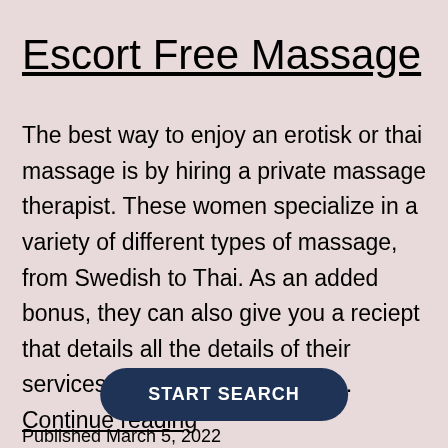Escort Free Massage
The best way to enjoy an erotisk or thai massage is by hiring a private massage therapist. These women specialize in a variety of different types of massage, from Swedish to Thai. As an added bonus, they can also give you a reciept that details all the details of their services. You can also choose… Continue reading
START SEARCH
Published March 5, 2022